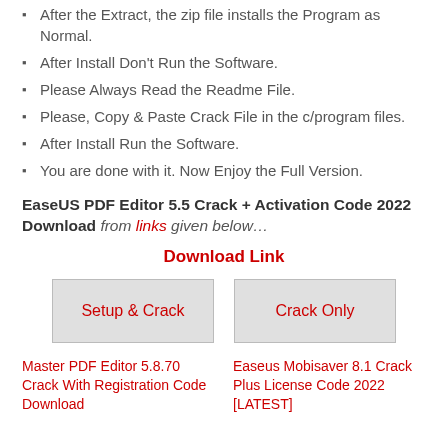After the Extract, the zip file installs the Program as Normal.
After Install Don't Run the Software.
Please Always Read the Readme File.
Please, Copy & Paste Crack File in the c/program files.
After Install Run the Software.
You are done with it. Now Enjoy the Full Version.
EaseUS PDF Editor 5.5 Crack + Activation Code 2022 Download from links given below…
Download Link
[Figure (other): Two download buttons: 'Setup & Crack' and 'Crack Only']
Master PDF Editor 5.8.70 Crack With Registration Code Download
Easeus Mobisaver 8.1 Crack Plus License Code 2022 [LATEST]